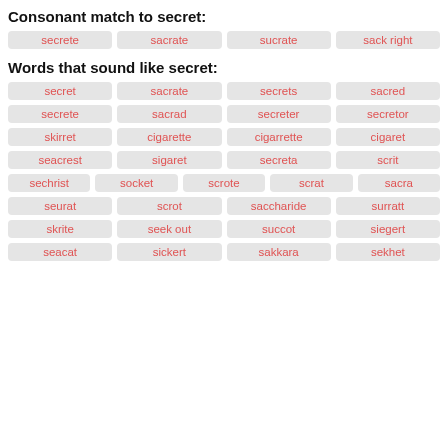Consonant match to secret:
secrete
sacrate
sucrate
sack right
Words that sound like secret:
secret
sacrate
secrets
sacred
secrete
sacrad
secreter
secretor
skirret
cigarette
cigarrette
cigaret
seacrest
sigaret
secreta
scrit
sechrist
socket
scrote
scrat
sacra
seurat
scrot
saccharide
surratt
skrite
seek out
succot
siegert
seacat
sickert
sakkara
sekhet